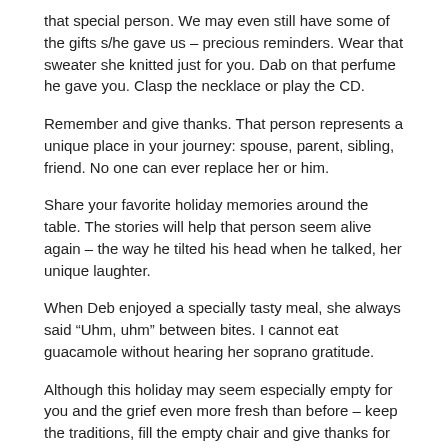that special person. We may even still have some of the gifts s/he gave us – precious reminders. Wear that sweater she knitted just for you. Dab on that perfume he gave you. Clasp the necklace or play the CD.
Remember and give thanks. That person represents a unique place in your journey: spouse, parent, sibling, friend. No one can ever replace her or him.
Share your favorite holiday memories around the table. The stories will help that person seem alive again – the way he tilted his head when he talked, her unique laughter.
When Deb enjoyed a specially tasty meal, she always said “Uhm, uhm” between bites. I cannot eat guacamole without hearing her soprano gratitude.
Although this holiday may seem especially empty for you and the grief even more fresh than before – keep the traditions, fill the empty chair and give thanks for the memories.